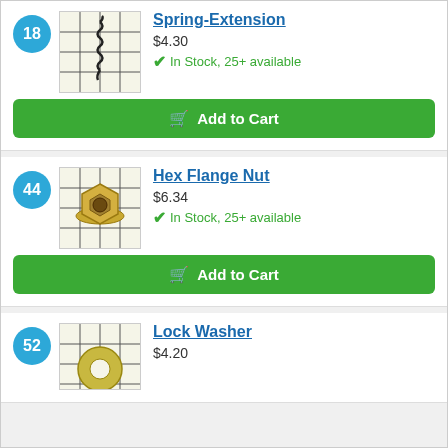18 Spring-Extension $4.30 In Stock, 25+ available
44 Hex Flange Nut $6.34 In Stock, 25+ available
52 Lock Washer $4.20